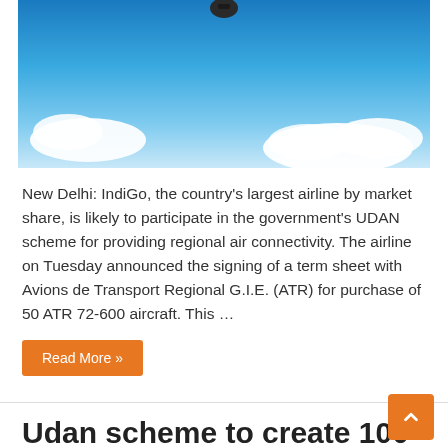[Figure (photo): Airplane flying in blue sky with white clouds]
New Delhi: IndiGo, the country's largest airline by market share, is likely to participate in the government's UDAN scheme for providing regional air connectivity. The airline on Tuesday announced the signing of a term sheet with Avions de Transport Regional G.I.E. (ATR) for purchase of 50 ATR 72-600 aircraft. This …
Read More »
Udan scheme to create 100 airports over next 2-3 years
May 1, 2017
Center, Civil Aviation, Govt. Initative, News, Welfare Schemes  0
[Figure (photo): Dark/black image, appears to be a video thumbnail]